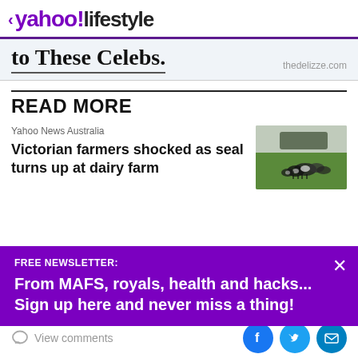< yahoo!lifestyle
to These Celebs.   thedelizze.com
READ MORE
Yahoo News Australia
Victorian farmers shocked as seal turns up at dairy farm
[Figure (photo): Cows grazing in a green misty field]
FREE NEWSLETTER:
From MAFS, royals, health and hacks... Sign up here and never miss a thing!
View comments